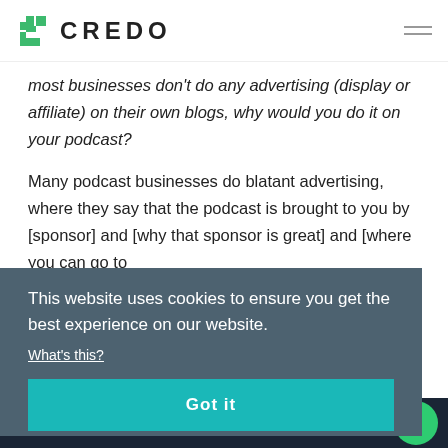[Figure (logo): Credo logo with green geometric icon and text CREDO]
most businesses don't do any advertising (display or affiliate) on their own blogs, why would you do it on your podcast?
Many podcast businesses do blatant advertising, where they say that the podcast is brought to you by [sponsor] and [why that sponsor is great] and [where you can go to [partially obscured text] ...med ...nd ...t the
This website uses cookies to ensure you get the best experience on our website.
What's this?
Got it